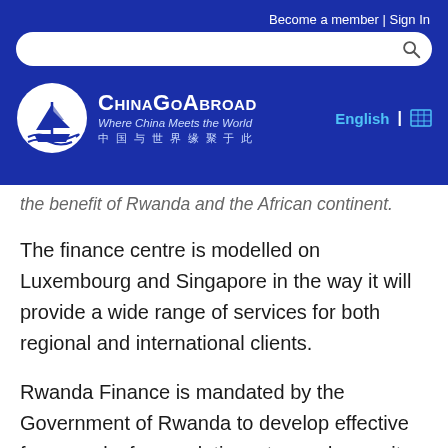Become a member | Sign In
[Figure (logo): ChinaGoAbroad logo with sailing ship emblem in white circle on blue background, tagline 'Where China Meets the World' and Chinese text '中国与世界缘聚于此']
the benefit of Rwanda and the African continent.
The finance centre is modelled on Luxembourg and Singapore in the way it will provide a wide range of services for both regional and international clients.
Rwanda Finance is mandated by the Government of Rwanda to develop effective frameworks for regulations, tax and capacity-building in the country. The organisation is also set out to promote the KIFC as a jurisdiction which provides a range of professional, business and financial services to